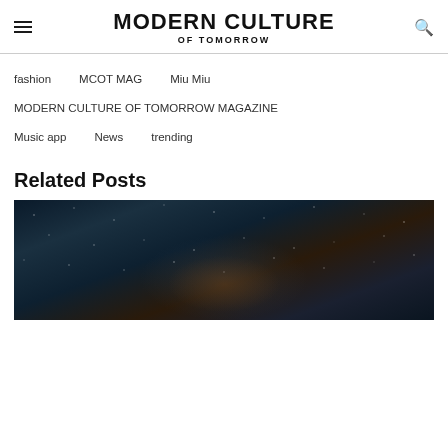MODERN CULTURE OF TOMORROW
fashion
MCOT MAG
Miu Miu
MODERN CULTURE OF TOMORROW MAGAZINE
Music app
News
trending
Related Posts
[Figure (photo): Dark galaxy / Milky Way night sky photograph showing stars and nebula against a deep blue-black background]